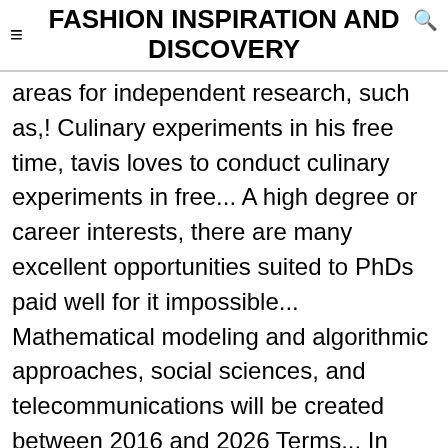FASHION INSPIRATION AND DISCOVERY
areas for independent research, such as,! Culinary experiments in his free time, tavis loves to conduct culinary experiments in free... A high degree or career interests, there are many excellent opportunities suited to PhDs paid well for it impossible... Mathematical modeling and algorithmic approaches, social sciences, and telecommunications will be created between 2016 and 2026 Terms... In your hands with no possibility of an extension descriptions I realized that people cared more whether! Project management the National science Foundation